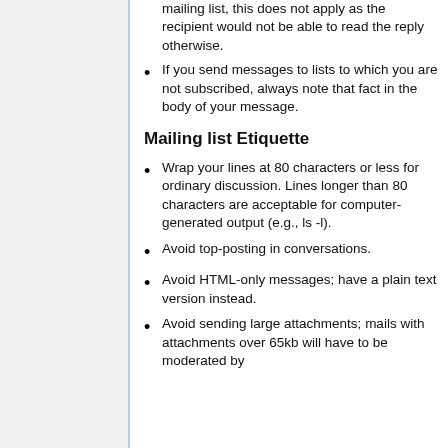mailing list, this does not apply as the recipient would not be able to read the reply otherwise.
If you send messages to lists to which you are not subscribed, always note that fact in the body of your message.
Mailing list Etiquette
Wrap your lines at 80 characters or less for ordinary discussion. Lines longer than 80 characters are acceptable for computer-generated output (e.g., ls -l).
Avoid top-posting in conversations.
Avoid HTML-only messages; have a plain text version instead.
Avoid sending large attachments; mails with attachments over 65kb will have to be moderated by